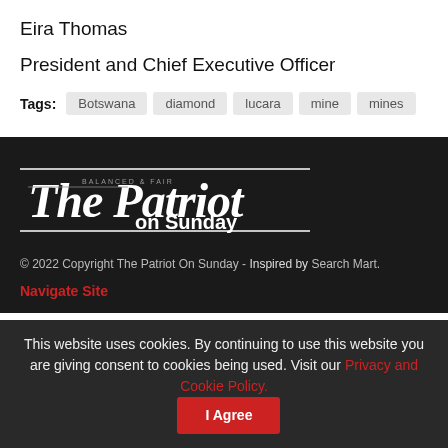Eira Thomas
President and Chief Executive Officer
Tags: Botswana  diamond  lucara  mine  mines
[Figure (logo): The Patriot on Sunday newspaper logo in white blackletter font on dark background]
© 2022 Copyright The Patriot On Sunday - Inspired by Search Mart.
Navigate Site
This website uses cookies. By continuing to use this website you are giving consent to cookies being used. Visit our Privacy and Cookie Policy.